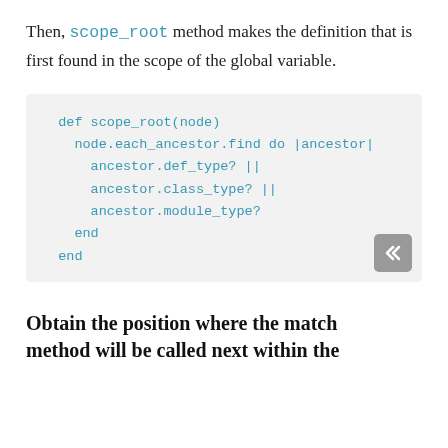Then, scope_root method makes the definition that is first found in the scope of the global variable.
[Figure (other): Code block showing Ruby method definition: def scope_root(node) with node.each_ancestor.find do |ancestor| block checking ancestor.def_type? || ancestor.class_type? || ancestor.module_type? followed by end statements.]
Obtain the position where the match method will be called next within the